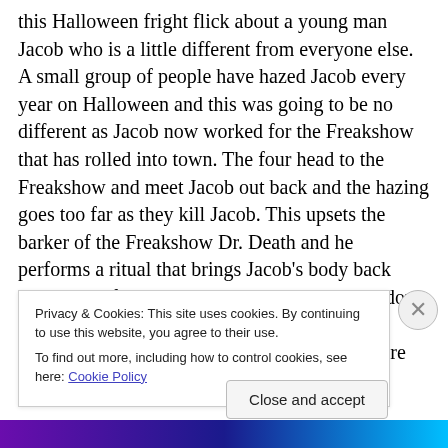this Halloween fright flick about a young man Jacob who is a little different from everyone else. A small group of people have hazed Jacob every year on Halloween and this was going to be no different as Jacob now worked for the Freakshow that has rolled into town. The four head to the Freakshow and meet Jacob out back and the hazing goes too far as they kill Jacob. This upsets the barker of the Freakshow Dr. Death and he performs a ritual that brings Jacob's body back with a horrific mask on. Undead Jacob tracks down each person in the group and brutally murders them for revenge. This flick has some great gore
Privacy & Cookies: This site uses cookies. By continuing to use this website, you agree to their use.
To find out more, including how to control cookies, see here: Cookie Policy